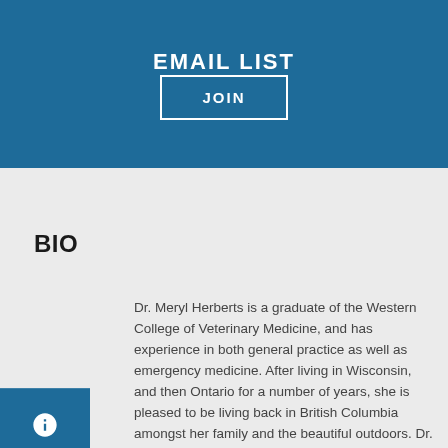EMAIL LIST
JOIN
BIO
Dr. Meryl Herberts is a graduate of the Western College of Veterinary Medicine, and has experience in both general practice as well as emergency medicine. After living in Wisconsin, and then Ontario for a number of years, she is pleased to be living back in British Columbia amongst her family and the beautiful outdoors. Dr. Herberts enjoys working alongside the